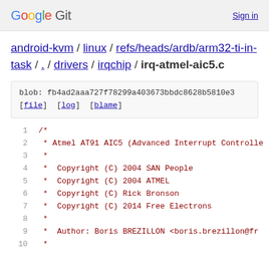Google Git  Sign in
android-kvm / linux / refs/heads/ardb/arm32-ti-in-task / . / drivers / irqchip / irq-atmel-aic5.c
blob: fb4ad2aaa727f78299a403673bbdc8628b5810e3
[file] [log] [blame]
1   /*
2     * Atmel AT91 AIC5 (Advanced Interrupt Controlle
3     *
4     *   Copyright (C) 2004 SAN People
5     *   Copyright (C) 2004 ATMEL
6     *   Copyright (C) Rick Bronson
7     *   Copyright (C) 2014 Free Electrons
8     *
9     *   Author: Boris BREZILLON <boris.brezillon@fr
10    *